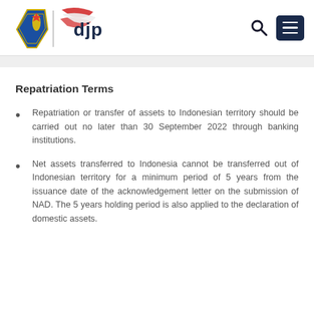[Figure (logo): DJP (Direktorat Jenderal Pajak) logo with Indonesian government emblem and decorative red-white ribbon motif]
Repatriation Terms
Repatriation or transfer of assets to Indonesian territory should be carried out no later than 30 September 2022 through banking institutions.
Net assets transferred to Indonesia cannot be transferred out of Indonesian territory for a minimum period of 5 years from the issuance date of the acknowledgement letter on the submission of NAD. The 5 years holding period is also applied to the declaration of domestic assets.